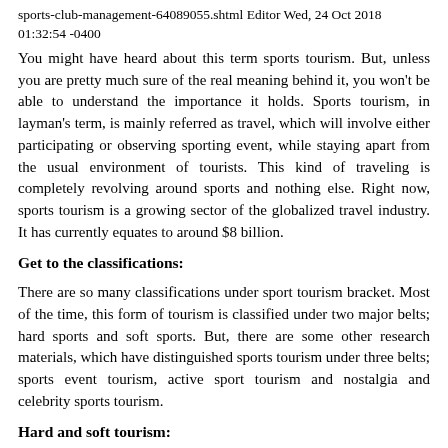sports-club-management-64089055.shtml Editor Wed, 24 Oct 2018 01:32:54 -0400
You might have heard about this term sports tourism. But, unless you are pretty much sure of the real meaning behind it, you won’t be able to understand the importance it holds. Sports tourism, in layman’s term, is mainly referred as travel, which will involve either participating or observing sporting event, while staying apart from the usual environment of tourists. This kind of traveling is completely revolving around sports and nothing else. Right now, sports tourism is a growing sector of the globalized travel industry. It has currently equates to around $8 billion.
Get to the classifications:
There are so many classifications under sport tourism bracket. Most of the time, this form of tourism is classified under two major belts; hard sports and soft sports. But, there are some other research materials, which have distinguished sports tourism under three belts; sports event tourism, active sport tourism and nostalgia and celebrity sports tourism.
Hard and soft tourism:
The term “hard” in this form of sports tourism mainly refers to quantity of people, willing to participate in competitive sports events. Most of the time, these kinds of events are motivated ones.